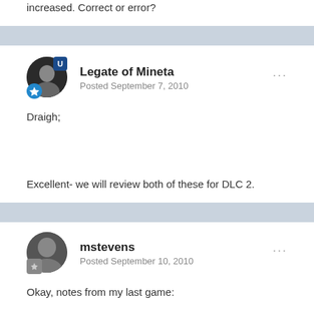increased. Correct or error?
Legate of Mineta
Posted September 7, 2010
Draigh;



Excellent- we will review both of these for DLC 2.
mstevens
Posted September 10, 2010
Okay, notes from my last game:

Typos:

Events/Adventures: